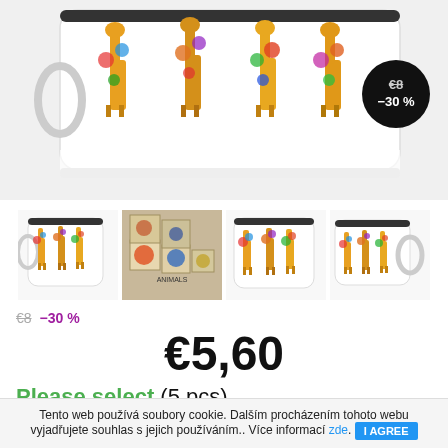[Figure (photo): Close-up of a white enamel mug with colorful giraffe illustrations on it, with a black circular badge showing price €8 and -30% discount]
[Figure (photo): Four thumbnail product images: enamel mug with giraffes, wooden blocks with animal illustrations, enamel mug front view with giraffes, enamel mug side view with giraffes]
€8  –30 %
€5,60
Please select (5 pcs)
Tento web používá soubory cookie. Dalším procházením tohoto webu vyjadřujete souhlas s jejich používáním.. Více informací zde.  I AGREE